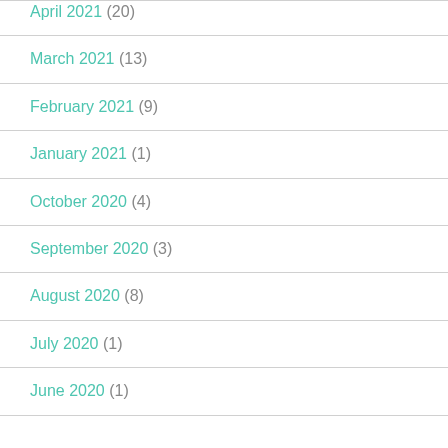April 2021 (20)
March 2021 (13)
February 2021 (9)
January 2021 (1)
October 2020 (4)
September 2020 (3)
August 2020 (8)
July 2020 (1)
June 2020 (1)